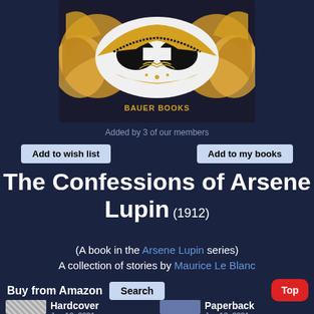[Figure (photo): Book cover for The Confessions of Arsene Lupin showing a Venetian masquerade mask in white and gold with black eye holes, surrounded by golden decorative elements. Text 'BAUER BOOKS' visible at the bottom center of the cover.]
Added by 3 of our members
Add to wish list
Add to my books
The Confessions of Arsene Lupin (1912)
(A book in the Arsene Lupin series)
A collection of stories by Maurice Le Blanc
Buy from Amazon  Search
Hardcover
Paperback